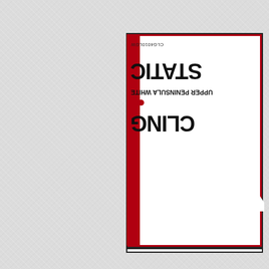[Figure (photo): A product label shown upside-down/mirrored against a white leathery textured background. The label has a red border and red strip on the left side with white interior. Text reads 'CLG4010LGW' (SKU), 'STATIC CLING' in large bold black letters, and 'UPPER PENINSULA WHITE' in smaller bold text, all oriented 180 degrees rotated. A torn paper effect appears on the right side of the label. A thin border strip appears at the bottom.]